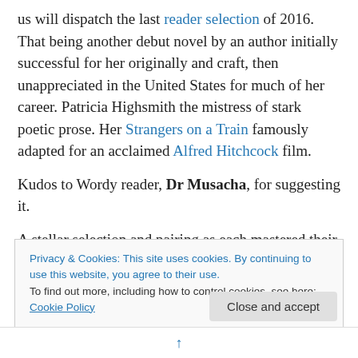us will dispatch the last reader selection of 2016. That being another debut novel by an author initially successful for her originally and craft, then unappreciated in the United States for much of her career. Patricia Highsmith the mistress of stark poetic prose. Her Strangers on a Train famously adapted for an acclaimed Alfred Hitchcock film.
Kudos to Wordy reader, Dr Musacha, for suggesting it.
A stellar selection and pairing as each mastered their respective realms, intersecting shortly after her novel
Privacy & Cookies: This site uses cookies. By continuing to use this website, you agree to their use.
To find out more, including how to control cookies, see here: Cookie Policy
Close and accept